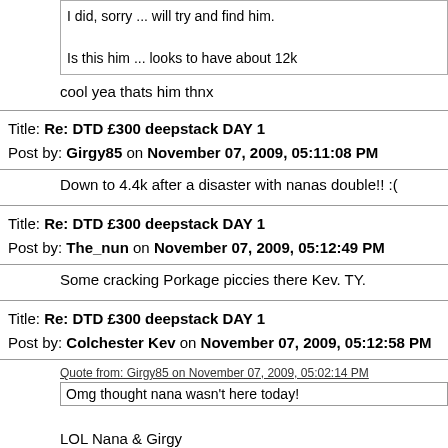I did, sorry ... will try and find him.

Is this him ... looks to have about 12k
cool yea thats him thnx
Title: Re: DTD £300 deepstack DAY 1
Post by: Girgy85 on November 07, 2009, 05:11:08 PM
Down to 4.4k after a disaster with nanas double!! :(
Title: Re: DTD £300 deepstack DAY 1
Post by: The_nun on November 07, 2009, 05:12:49 PM
Some cracking Porkage piccies there Kev. TY.
Title: Re: DTD £300 deepstack DAY 1
Post by: Colchester Kev on November 07, 2009, 05:12:58 PM
Quote from: Girgy85 on November 07, 2009, 05:02:14 PM
Omg thought nana wasn't here today!
LOL Nana & Girgy